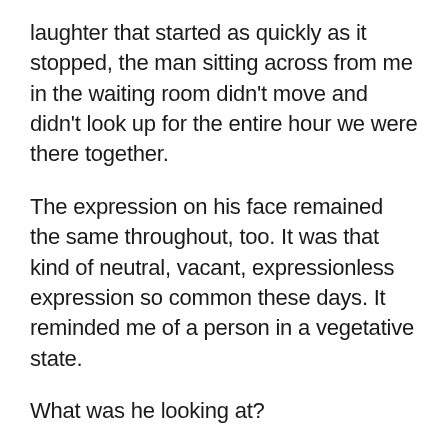laughter that started as quickly as it stopped, the man sitting across from me in the waiting room didn't move and didn't look up for the entire hour we were there together.
The expression on his face remained the same throughout, too. It was that kind of neutral, vacant, expressionless expression so common these days. It reminded me of a person in a vegetative state.
What was he looking at?
What was he looking for?
I'm not pointing fingers. I've been there. Truth be told, I was there this morning scrolling through my